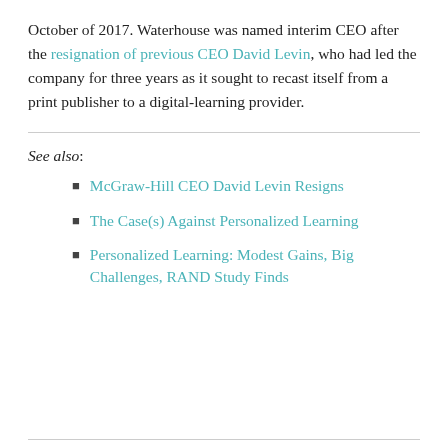October of 2017. Waterhouse was named interim CEO after the resignation of previous CEO David Levin, who had led the company for three years as it sought to recast itself from a print publisher to a digital-learning provider.
See also:
McGraw-Hill CEO David Levin Resigns
The Case(s) Against Personalized Learning
Personalized Learning: Modest Gains, Big Challenges, RAND Study Finds